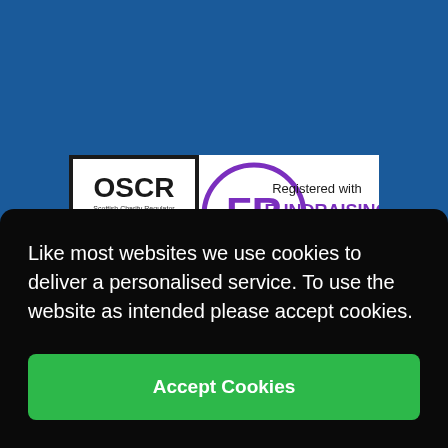[Figure (logo): OSCR Scottish Charity Regulator logo alongside Registered with Fundraising Regulator logo (FR in purple circle)]
Like most websites we use cookies to deliver a personalised service. To use the website as intended please accept cookies.
Accept Cookies